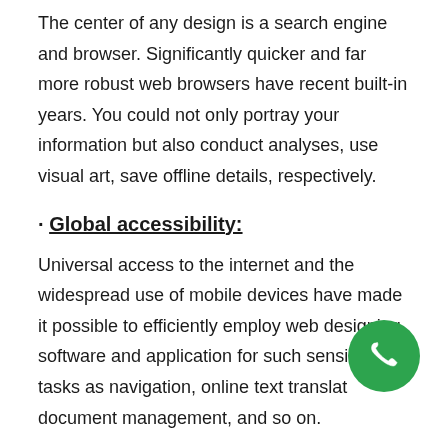The center of any design is a search engine and browser. Significantly quicker and far more robust web browsers have recent built-in years. You could not only portray your information but also conduct analyses, use visual art, save offline details, respectively.
· Global accessibility:
Universal access to the internet and the widespread use of mobile devices have made it possible to efficiently employ web designing software and application for such sensitive tasks as navigation, online text translation, document management, and so on.
· Frameworks for Smart Web Design:
[Figure (other): Green circular phone/call button icon in bottom-right area of page]